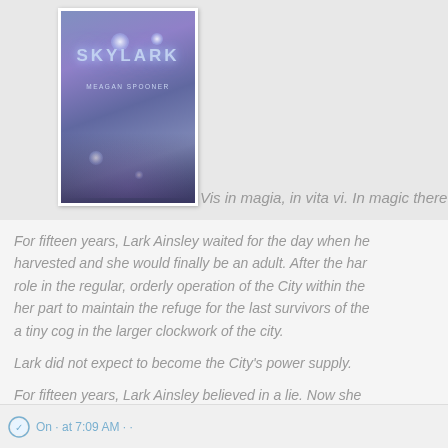[Figure (illustration): Book cover of 'Skylark' by Meagan Spooner, featuring a dark blue-purple misty forest with glowing orbs and decorative vine patterns.]
Vis in magia, in vita vi. In magic there
For fifteen years, Lark Ainsley waited for the day when her magic would be harvested and she would finally be an adult. After the harvest, she could take her role in the regular, orderly operation of the City within the Wall, doing her part to maintain the refuge for the last survivors of the Wars. She would be a tiny cog in the larger clockwork of the city.

Lark did not expect to become the City's power supply.

For fifteen years, Lark Ainsley believed in a lie. Now she must leave everything she's ever known...or face a fate more unimaginable tha
On · at 7:09 AM · ·